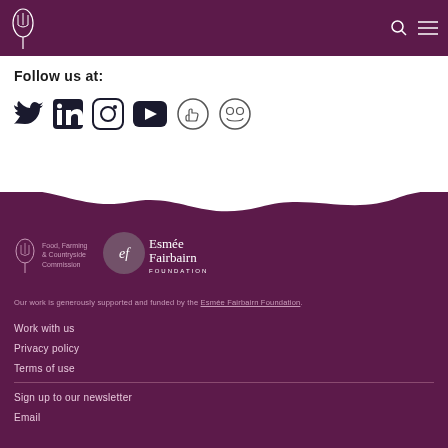Food, Farming & Countryside Commission header with logo
Follow us at:
[Figure (illustration): Social media icons: Twitter, LinkedIn, Instagram, YouTube, Facebook Like, and another circular icon]
[Figure (logo): Food, Farming & Countryside Commission logo (fork/leaf icon with text)]
[Figure (logo): Esmée Fairbairn Foundation logo (ef circle with text)]
Our work is generously supported and funded by the Esmée Fairbairn Foundation.
Work with us
Privacy policy
Terms of use
Sign up to our newsletter
Email